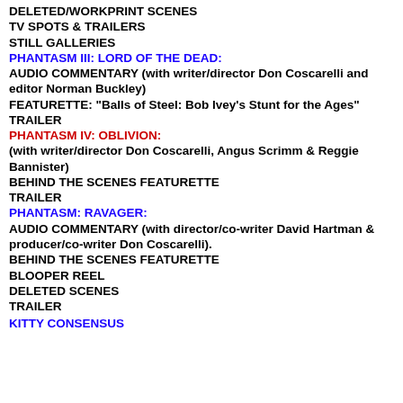DELETED/WORKPRINT SCENES
TV SPOTS & TRAILERS
STILL GALLERIES
PHANTASM III: LORD OF THE DEAD:
AUDIO COMMENTARY (with writer/director Don Coscarelli and editor Norman Buckley)
FEATURETTE: "Balls of Steel: Bob Ivey's Stunt for the Ages"
TRAILER
PHANTASM IV: OBLIVION:
(with writer/director Don Coscarelli, Angus Scrimm & Reggie Bannister)
BEHIND THE SCENES FEATURETTE
TRAILER
PHANTASM: RAVAGER:
AUDIO COMMENTARY (with director/co-writer David Hartman & producer/co-writer Don Coscarelli).
BEHIND THE SCENES FEATURETTE
BLOOPER REEL
DELETED SCENES
TRAILER
KITTY CONSENSUS